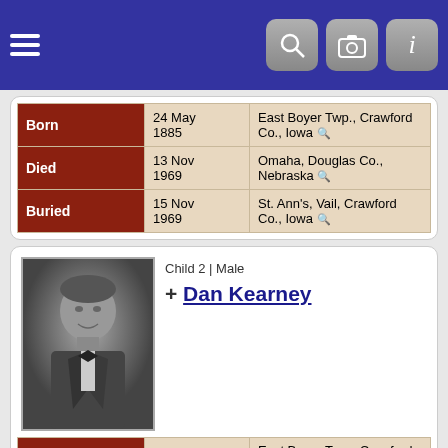Navigation header with menu, search, camera, and info icons
| Event | Date | Place |
| --- | --- | --- |
| Born | 24 May 1885 | East Boyer Twp., Crawford Co., Iowa |
| Died | 13 Nov 1969 | Omaha, Douglas Co., Nebraska |
| Buried | 15 Nov 1969 | St. Ann's, Vail, Crawford Co., Iowa |
Child 2 | Male
+ Dan Kearney
[Figure (photo): Black and white portrait photo of Dan Kearney, a young man in a suit with a bow tie]
| Event | Date | Place |
| --- | --- | --- |
| Born | 27 Feb 1887 | East Boyer Twp., Crawford Co., Iowa |
| Died | 25 Mar 1948 | Omaha, Douglas Co., Nebraska |
| Buried | 29 Mar 1948 | St. Ann's, Vail, Crawford Co., Iowa |
| Spouse | Mary Kathryn Costello | F18 |  |
| Married | 10 Feb 1948 | St. Ann's, Vail, Crawford Co., Iowa |